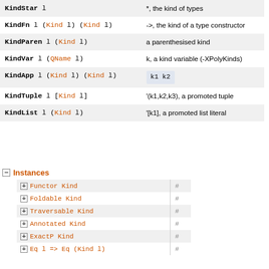| Constructor | Description |
| --- | --- |
| KindStar l | *, the kind of types |
| KindFn l (Kind l) (Kind l) | ->, the kind of a type constructor |
| KindParen l (Kind l) | a parenthesised kind |
| KindVar l (QName l) | k, a kind variable (-XPolyKinds) |
| KindApp l (Kind l) (Kind l) | k1 k2 |
| KindTuple l [Kind l] | '(k1,k2,k3), a promoted tuple |
| KindList l (Kind l) | '[k1], a promoted list literal |
Instances
| Instance | # |
| --- | --- |
| Functor Kind | # |
| Foldable Kind | # |
| Traversable Kind | # |
| Annotated Kind | # |
| ExactP Kind | # |
| Eq l => Eq (Kind l) | # |